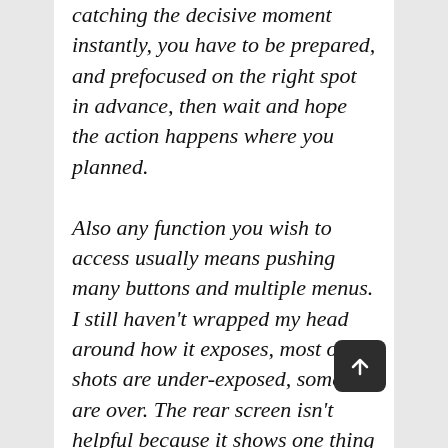catching the decisive moment instantly, you have to be prepared, and prefocused on the right spot in advance, then wait and hope the action happens where you planned.

Also any function you wish to access usually means pushing many buttons and multiple menus. I still haven't wrapped my head around how it exposes, most of my shots are under-exposed, some are over. The rear screen isn't helpful because it shows one thing and the RAW capture is something completely